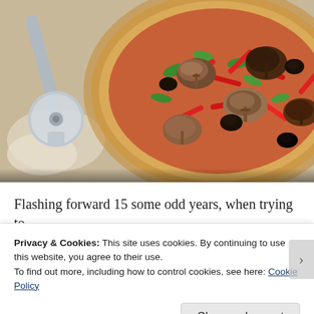[Figure (photo): Close-up photo of a flatbread pizza topped with mushrooms, red bell pepper strips, black olives, and green spinach leaves on a rustic wooden board, with a pizza cutter visible on the left side]
Flashing forward 15 some odd years, when trying to
Privacy & Cookies: This site uses cookies. By continuing to use this website, you agree to their use.
To find out more, including how to control cookies, see here: Cookie Policy
Close and accept